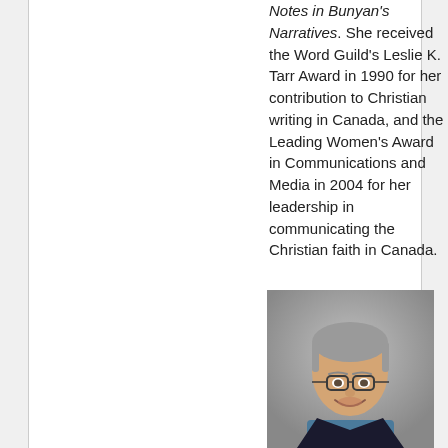Notes in Bunyan's Narratives. She received the Word Guild's Leslie K. Tarr Award in 1990 for her contribution to Christian writing in Canada, and the Leading Women's Award in Communications and Media in 2004 for her leadership in communicating the Christian faith in Canada.
[Figure (photo): Headshot of a middle-aged man with grey hair and glasses, wearing a dark jacket and blue shirt, smiling against a grey background.]